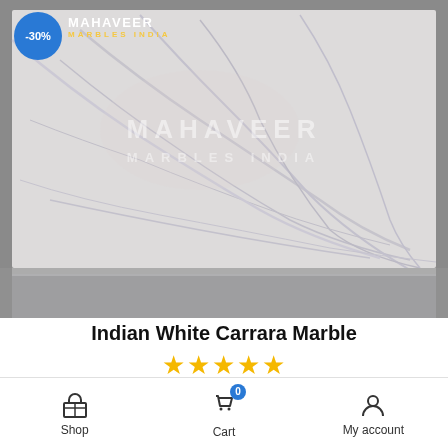[Figure (photo): Indian White Carrara Marble slab shown on a grey background with 'MAHAVEER MARBLES INDIA' watermark. The marble is white with blue/grey veining. A -30% blue circular badge is in the top-left corner, and the Mahaveer Marbles India logo appears in the top-left header area.]
Indian White Carrara Marble
★★★★★ (5 stars rating)
₹135.00 (with strikethrough original price)
Shop | Cart (0) | My account